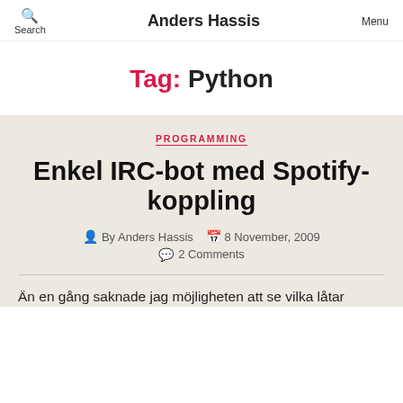Search  Anders Hassis  Menu
Tag: Python
PROGRAMMING
Enkel IRC-bot med Spotify-koppling
By Anders Hassis  8 November, 2009  2 Comments
Än en gång saknade jag möjligheten att se vilka låtar